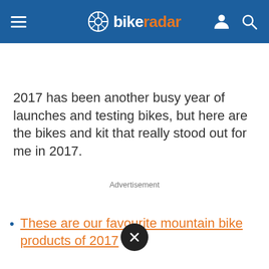bikeradar
2017 has been another busy year of launches and testing bikes, but here are the bikes and kit that really stood out for me in 2017.
Advertisement
These are our favourite mountain bike products of 2017